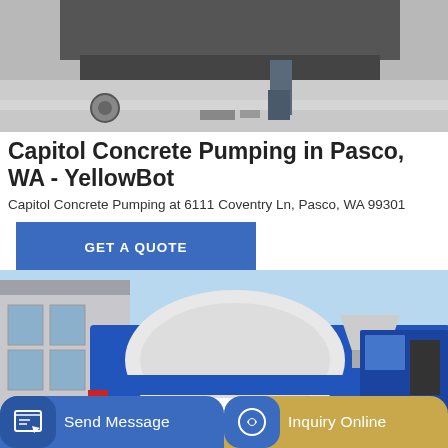[Figure (photo): Top photo showing concrete pumping equipment on a floor with wheels/feet visible, gray industrial setting]
Capitol Concrete Pumping in Pasco, WA - YellowBot
Capitol Concrete Pumping at 6111 Coventry Ln, Pasco, WA 99301
GET A QUOTE
[Figure (photo): Photo of a blue and white concrete mixer/pump truck parked outside a building with blue sky in background]
Send Message
Inquiry Online